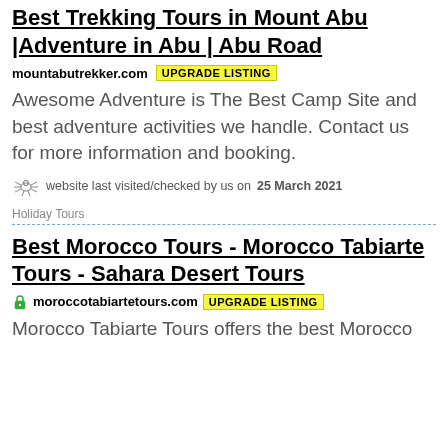Best Trekking Tours in Mount Abu |Adventure in Abu | Abu Road
mountabutrekker.com  UPGRADE LISTING
Awesome Adventure is The Best Camp Site and best adventure activities we handle. Contact us for more information and booking.
website last visited/checked by us on 25 March 2021
Holiday Tours
Best Morocco Tours - Morocco Tabiarte Tours - Sahara Desert Tours
moroccotabiartetours.com  UPGRADE LISTING
Morocco Tabiarte Tours offers the best Morocco